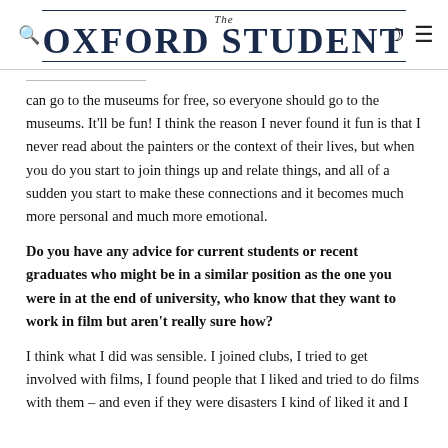The Oxford Student
can go to the museums for free, so everyone should go to the museums. It'll be fun! I think the reason I never found it fun is that I never read about the painters or the context of their lives, but when you do you start to join things up and relate things, and all of a sudden you start to make these connections and it becomes much more personal and much more emotional.
Do you have any advice for current students or recent graduates who might be in a similar position as the one you were in at the end of university, who know that they want to work in film but aren't really sure how?
I think what I did was sensible. I joined clubs, I tried to get involved with films, I found people that I liked and tried to do films with them – and even if they were disasters I kind of liked it and I